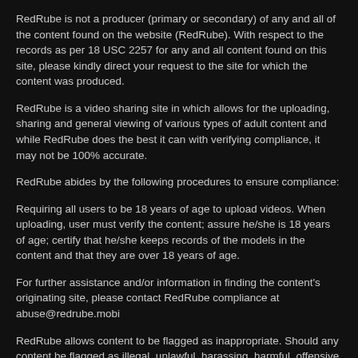RedRube is not a producer (primary or secondary) of any and all of the content found on the website (RedRube). With respect to the records as per 18 USC 2257 for any and all content found on this site, please kindly direct your request to the site for which the content was produced.
RedRube is a video sharing site in which allows for the uploading, sharing and general viewing of various types of adult content and while RedRube does the best it can with verifying compliance, it may not be 100% accurate.
RedRube abides by the following procedures to ensure compliance:
Requiring all users to be 18 years of age to upload videos. When uploading, user must verify the content; assure he/she is 18 years of age; certify that he/she keeps records of the models in the content and that they are over 18 years of age.
For further assistance and/or information in finding the content's originating site, please contact RedRube compliance at abuse@redrube.mobi
RedRube allows content to be flagged as inappropriate. Should any content be flagged as illegal, unlawful, harassing, harmful, offensive or various other reasons, RedRube shall remove it from the site without delay.